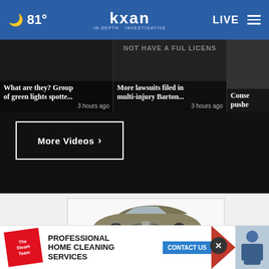81° kxan IN-DEPTH INVESTIGATIVE LIVE
What are they? Group of green lights spotte... 3 hours ago
NOT HAVE A FULL LICENS — More lawsuits filed in multi-injury Barton... 3 hours ago
Conse... pushe...
More Videos ›
[Figure (photo): Mazda CX-5 advertisement showing a tan/bronze SUV with text 'THE FIRST-EVER MAZDA CX-5']
[Figure (photo): The Steam Team advertisement: Professional Home Cleaning Services with CONTACT US button]
Roger Beasley MAZDA